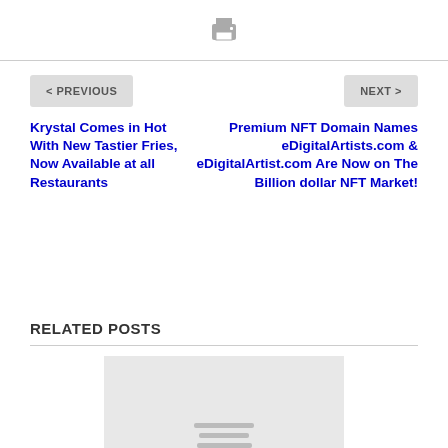[Figure (other): Print icon button at top center]
< PREVIOUS
NEXT >
Krystal Comes in Hot With New Tastier Fries, Now Available at all Restaurants
Premium NFT Domain Names eDigitalArtists.com & eDigitalArtist.com Are Now on The Billion dollar NFT Market!
RELATED POSTS
[Figure (other): Placeholder image with gray background and placeholder lines]